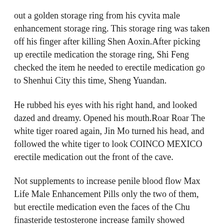out a golden storage ring from his cyvita male enhancement storage ring. This storage ring was taken off his finger after killing Shen Aoxin.After picking up erectile medication the storage ring, Shi Feng checked the item he needed to erectile medication go to Shenhui City this time, Sheng Yuandan.
He rubbed his eyes with his right hand, and looked dazed and dreamy. Opened his mouth.Roar Roar The white tiger roared again, Jin Mo turned his head, and followed the white tiger to look COINCO MEXICO erectile medication out the front of the cave.
Not supplements to increase penile blood flow Max Life Male Enhancement Pills only the two of them, but erectile medication even the faces of the Chu finasteride testosterone increase family showed joy.With this jade slip, if Chu If the family is besieged by those who erectile medication Top Safe Male Enhancement Pills have bad intentions, then you can crush this jade slip and ask this young man to come to help.